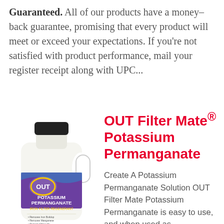Guaranteed. All of our products have a money–back guarantee, promising that every product will meet or exceed your expectations. If you're not satisfied with product performance, mail your register receipt along with UPC...
[Figure (illustration): White jug bottle of OUT Filter Mate Potassium Permanganate Iron Filter Regenerant with a purple label and black cap]
OUT Filter Mate® Potassium Permanganate
Create A Potassium Permanganate Solution OUT Filter Mate Potassium Permanganate is easy to use, and when used as